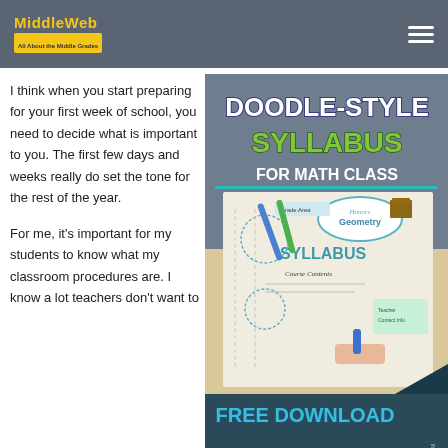MiddleWeb — header navigation
I think when you start preparing for your first week of school, you need to decide what is important to you. The first few days and weeks really do set the tone for the rest of the year.
For me, it's important for my students to know what my classroom procedures are. I know a lot teachers don't want to
[Figure (illustration): Doodle-Style Syllabus for Math Class promotional image with 'Free Download' text at bottom, showing a hand holding a marker over a doodle-style syllabus worksheet for Honors Geometry]